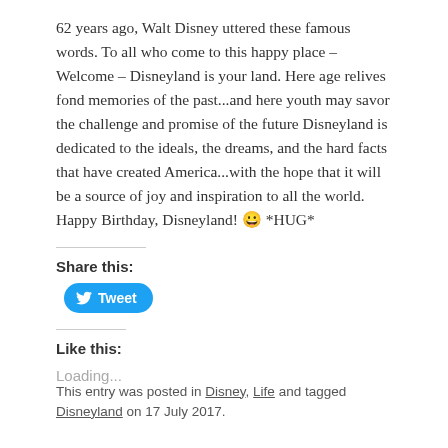62 years ago, Walt Disney uttered these famous words. To all who come to this happy place – Welcome – Disneyland is your land. Here age relives fond memories of the past...and here youth may savor the challenge and promise of the future Disneyland is dedicated to the ideals, the dreams, and the hard facts that have created America...with the hope that it will be a source of joy and inspiration to all the world. Happy Birthday, Disneyland! 😀 *HUG*
Share this:
[Figure (other): Twitter Tweet button — blue rounded pill button with bird icon and 'Tweet' label]
Like this:
Loading...
This entry was posted in Disney, Life and tagged Disneyland on 17 July 2017.